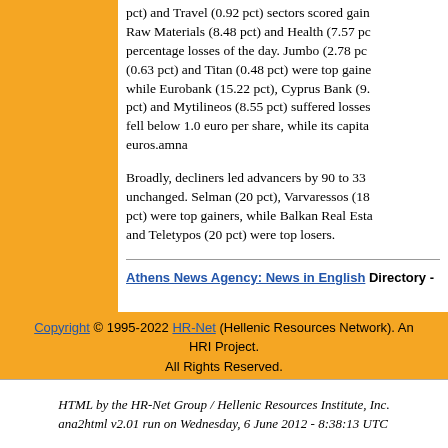pct) and Travel (0.92 pct) sectors scored gains. Raw Materials (8.48 pct) and Health (7.57 pct) percentage losses of the day. Jumbo (2.78 pct) (0.63 pct) and Titan (0.48 pct) were top gainers, while Eurobank (15.22 pct), Cyprus Bank (9. pct) and Mytilineos (8.55 pct) suffered losses. fell below 1.0 euro per share, while its capita euros.amna
Broadly, decliners led advancers by 90 to 33 unchanged. Selman (20 pct), Varvaressos (18 pct) were top gainers, while Balkan Real Estate and Teletypos (20 pct) were top losers.
Athens News Agency: News in English Directory -
Copyright © 1995-2022 HR-Net (Hellenic Resources Network). An HRI Project. All Rights Reserved.
HTML by the HR-Net Group / Hellenic Resources Institute, Inc. ana2html v2.01 run on Wednesday, 6 June 2012 - 8:38:13 UTC